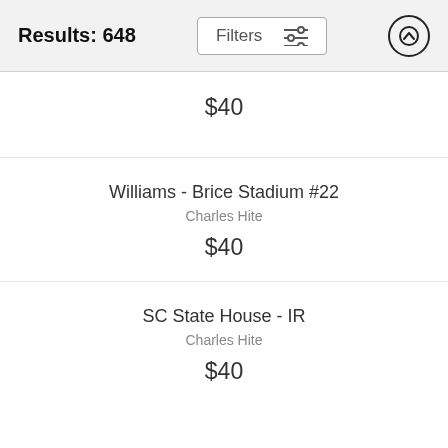Results: 648  Filters  ↑
$40
Williams - Brice Stadium #22
Charles Hite
$40
SC State House - IR
Charles Hite
$40